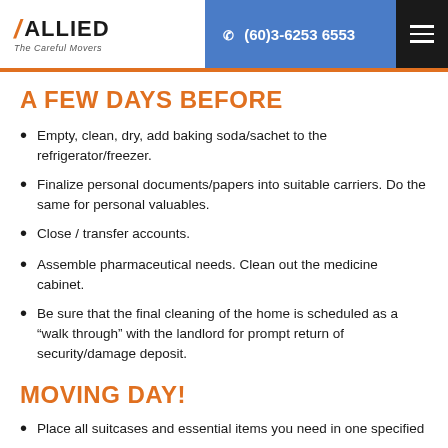Allied The Careful Movers | (60)3-6253 6553
A FEW DAYS BEFORE
Empty, clean, dry, add baking soda/sachet to the refrigerator/freezer.
Finalize personal documents/papers into suitable carriers. Do the same for personal valuables.
Close / transfer accounts.
Assemble pharmaceutical needs. Clean out the medicine cabinet.
Be sure that the final cleaning of the home is scheduled as a “walk through” with the landlord for prompt return of security/damage deposit.
MOVING DAY!
Place all suitcases and essential items you need in one specified